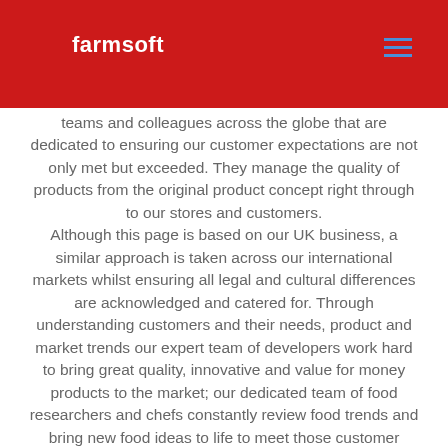farmsoft
teams and colleagues across the globe that are dedicated to ensuring our customer expectations are not only met but exceeded. They manage the quality of products from the original product concept right through to our stores and customers. Although this page is based on our UK business, a similar approach is taken across our international markets whilst ensuring all legal and cultural differences are acknowledged and catered for. Through understanding customers and their needs, product and market trends our expert team of developers work hard to bring great quality, innovative and value for money products to the market; our dedicated team of food researchers and chefs constantly review food trends and bring new food ideas to life to meet those customer needs.